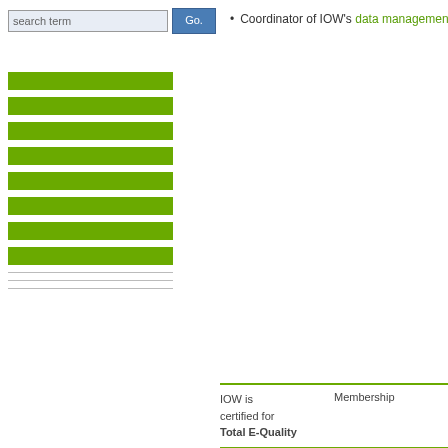search term  Go.
Coordinator of IOW's data management
[Figure (other): Navigation menu green bar items on left side of page — a series of horizontal green bars representing navigation links]
IOW is certified for Total E-Quality | Membership
Home | News | Research | Studies | Learn about th
© 2008-2022 Leibniz Institute for Baltic Sea Resea